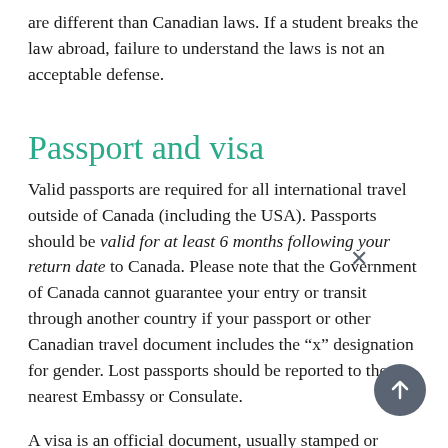are different than Canadian laws. If a student breaks the law abroad, failure to understand the laws is not an acceptable defense.
Passport and visa
Valid passports are required for all international travel outside of Canada (including the USA). Passports should be valid for at least 6 months following your return date to Canada. Please note that the Government of Canada cannot guarantee your entry or transit through another country if your passport or other Canadian travel document includes the “x” designation for gender. Lost passports should be reported to the nearest Embassy or Consulate.
A visa is an official document, usually stamped or glued inside a passport, giving permission from a foreign authority to enter a country. Visas are issued by foreign government offices in